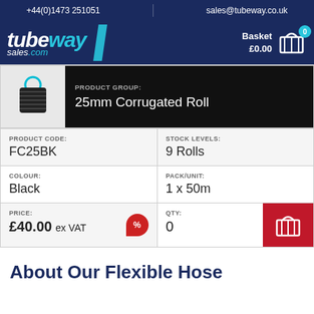+44(0)1473 251051  |  sales@tubeway.co.uk
[Figure (logo): Tubeway Sales .com logo with basket showing £0.00 and 0 items]
PRODUCT GROUP: 25mm Corrugated Roll
| PRODUCT CODE:
FC25BK | STOCK LEVELS:
9 Rolls |
| COLOUR:
Black | PACK/UNIT:
1 x 50m |
| PRICE:
£40.00 ex VAT | QTY:
0 |
About Our Flexible Hose